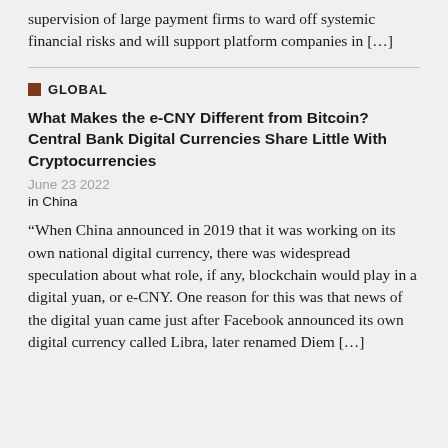supervision of large payment firms to ward off systemic financial risks and will support platform companies in [...]
GLOBAL
What Makes the e-CNY Different from Bitcoin? Central Bank Digital Currencies Share Little With Cryptocurrencies
June 23 2022
in China
“When China announced in 2019 that it was working on its own national digital currency, there was widespread speculation about what role, if any, blockchain would play in a digital yuan, or e-CNY. One reason for this was that news of the digital yuan came just after Facebook announced its own digital currency called Libra, later renamed Diem [...]